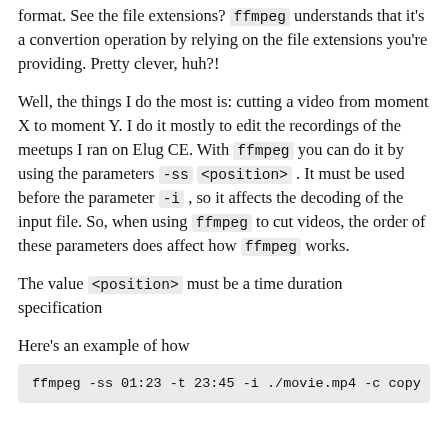format. See the file extensions? ffmpeg understands that it's a convertion operation by relying on the file extensions you're providing. Pretty clever, huh?!
Well, the things I do the most is: cutting a video from moment X to moment Y. I do it mostly to edit the recordings of the meetups I ran on Elug CE. With ffmpeg you can do it by using the parameters -ss <position> . It must be used before the parameter -i , so it affects the decoding of the input file. So, when using ffmpeg to cut videos, the order of these parameters does affect how ffmpeg works.
The value <position> must be a time duration specification
Here's an example of how
[Figure (other): Code block showing: ffmpeg -ss 01:23 -t 23:45 -i ./movie.mp4 -c copy c]